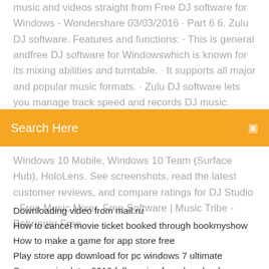music and videos straight from Free DJ software for Windows - Wondershare 03/03/2016 · Part 6 6. Zulu DJ software. Features and functions: · This is general andfree DJ software for Windowswhich is known for its mixing abilities and turntable. · It supports all major and popular music formats. · Zulu DJ software lets you manage track speed and records DJ music.
Search Here
Windows 10 Mobile, Windows 10 Team (Surface Hub), HoloLens. See screenshots, read the latest customer reviews, and compare ratings for DJ Studio - Free Music Mixer. Free Software | Music Tribe - Behringer Free
Downloading video from mail.ru
How to cancel movie ticket booked through bookmyshow
How to make a game for app store free
Play store app download for pc windows 7 ultimate
Surgeon simulator 2019 full version free download